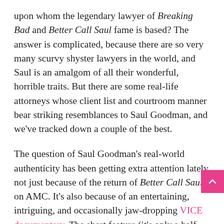upon whom the legendary lawyer of Breaking Bad and Better Call Saul fame is based? The answer is complicated, because there are so very many scurvy shyster lawyers in the world, and Saul is an amalgom of all their wonderful, horrible traits. But there are some real-life attorneys whose client list and courtroom manner bear striking resemblances to Saul Goodman, and we've tracked down a couple of the best.
The question of Saul Goodman's real-world authenticity has been getting extra attention lately not just because of the return of Better Call Saul on AMC. It's also because of an entertaining, intriguing, and occasionally jaw-dropping VICE documentary. The short feature (it's only a half-hour) compares Howard Greenberg, a crazy-haired New York City attorney with a penchant for odd attire and a take-all-clients attitude, to Bob Odenkirk's TV persona. Greenberg is a veritable fount of quotable